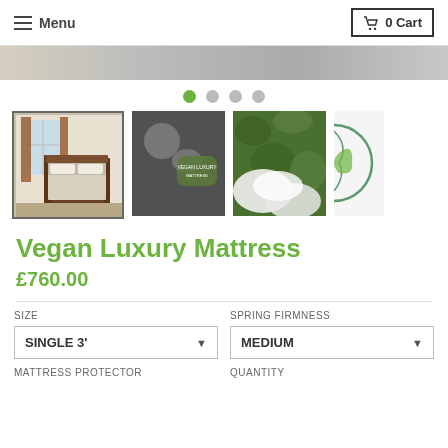Menu | 0 Cart
[Figure (photo): Hero banner strip showing mattress/bedroom scene]
[Figure (infographic): Carousel navigation dots: 4 dots, first active (green)]
[Figure (photo): Thumbnail 1 (selected): bedroom with metal bed frame and mattress]
[Figure (photo): Thumbnail 2: dark fabric with Vegan Luxury logo]
[Figure (photo): Thumbnail 3: white wool/fiber material on green background]
[Figure (logo): Thumbnail 4: partial circular logo on white]
Vegan Luxury Mattress
£760.00
SIZE
SINGLE 3'
SPRING FIRMNESS
MEDIUM
MATTRESS PROTECTOR
QUANTITY